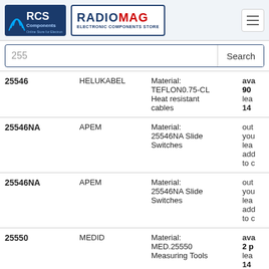[Figure (logo): RCS Components logo (blue background with signal waves) and RADIOMAG Electronic Components Store logo]
255
Search
| Code | Brand | Material | Availability |
| --- | --- | --- | --- |
| 25546 | HELUKABEL | Material: TEFLON0.75-CL Heat resistant cables | ava 90 lea 14 |
| 25546NA | APEM | Material: 25546NA Slide Switches | out you lea add to c |
| 25546NA | APEM | Material: 25546NA Slide Switches | out you lea add to c |
| 25550 | MEDID | Material: MED.25550 Measuring Tools | ava 2 p lea 14 |
| 25550 | MEDID | Material: MED.25550 Measuring Tools | ava 2 p lea 42 |